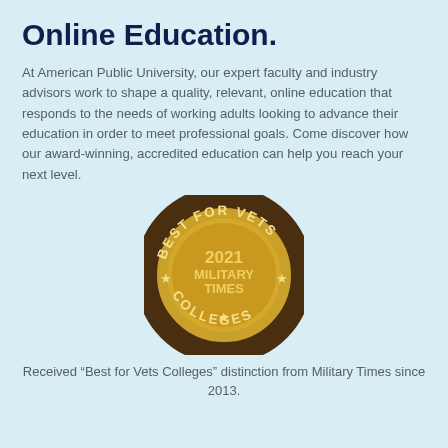Online Education.
At American Public University, our expert faculty and industry advisors work to shape a quality, relevant, online education that responds to the needs of working adults looking to advance their education in order to meet professional goals. Come discover how our award-winning, accredited education can help you reach your next level.
[Figure (illustration): Gold circular badge/seal reading 'BEST FOR VETS' around the top, '2021 MILITARY TIMES' in the center, and 'COLLEGES' around the bottom, with stars, on a dark brown band border.]
Received “Best for Vets Colleges” distinction from Military Times since 2013.